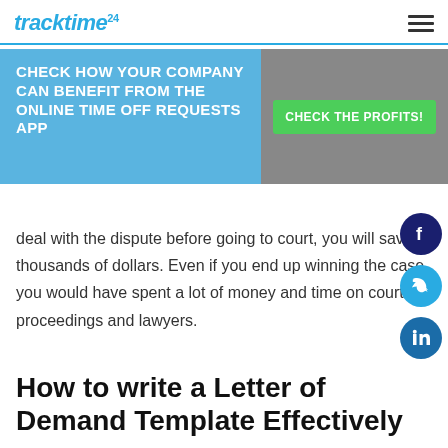tracktime24
might not be such a good idea. However, with a
[Figure (infographic): Blue advertisement banner overlay: left side reads 'CHECK HOW YOUR COMPANY CAN BENEFIT FROM THE ONLINE TIME OFF REQUESTS APP' in bold white text on blue background. Right side has gray background with a green button labeled 'CHECK THE PROFITS!']
deal with the dispute before going to court, you will save thousands of dollars. Even if you end up winning the case, you would have spent a lot of money and time on court proceedings and lawyers.
How to write a Letter of Demand Template Effectively